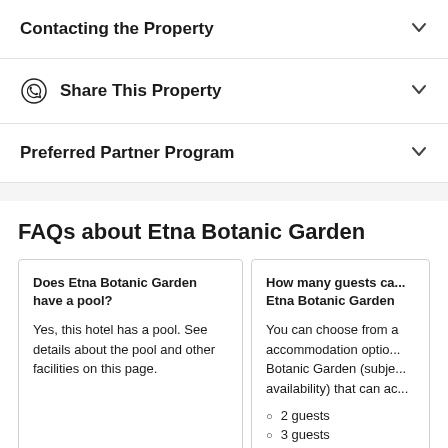Contacting the Property
Share This Property
Preferred Partner Program
FAQs about Etna Botanic Garden
Does Etna Botanic Garden have a pool?
Yes, this hotel has a pool. See details about the pool and other facilities on this page.
How many guests ca... Etna Botanic Garden
You can choose from a accommodation optio... Botanic Garden (subje... availability) that can a...
2 guests
3 guests